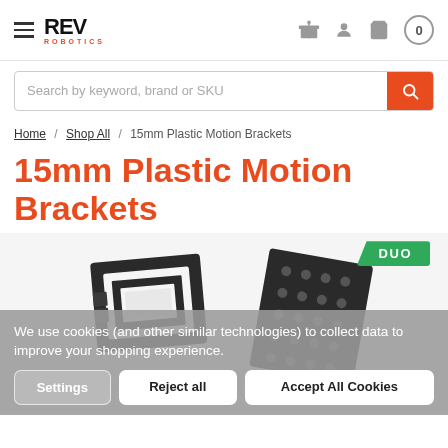REV ROBOTICS — navigation header with hamburger menu, logo, gift icon, user icon, cart (0)
Search by keyword, brand or SKU
Home / Shop All / 15mm Plastic Motion Brackets
15mm Plastic Motion Brackets
[Figure (photo): Product photo of 15mm Plastic Motion Brackets: two dark grey/black plastic bracket parts shown, one rectangular frame bracket and one flat plate with holes, with a green DUO badge in the upper right corner]
We use cookies (and other similar technologies) to collect data to improve your shopping experience.
Settings | Reject all | Accept All Cookies